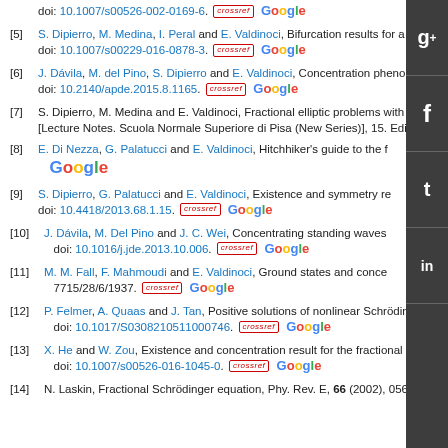[5] S. Dipierro, M. Medina, I. Peral and E. Valdinoci, Bifurcation results for a fract... doi: 10.1007/s00229-016-0878-3.
[6] J. Dávila, M. del Pino, S. Dipierro and E. Valdinoci, Concentration phenomena... doi: 10.2140/apde.2015.8.1165.
[7] S. Dipierro, M. Medina and E. Valdinoci, Fractional elliptic problems with criti... [Lecture Notes. Scuola Normale Superiore di Pisa (New Series)], 15. Edizioni...
[8] E. Di Nezza, G. Palatucci and E. Valdinoci, Hitchhiker's guide to the fr...
[9] S. Dipierro, G. Palatucci and E. Valdinoci, Existence and symmetry re... doi: 10.4418/2013.68.1.15.
[10] J. Dávila, M. Del Pino and J. C. Wei, Concentrating standing waves... doi: 10.1016/j.jde.2013.10.006.
[11] M. M. Fall, F. Mahmoudi and E. Valdinoci, Ground states and conce... 7715/28/6/1937.
[12] P. Felmer, A. Quaas and J. Tan, Positive solutions of nonlinear Schrödinger... doi: 10.1017/S0308210511000746.
[13] X. He and W. Zou, Existence and concentration result for the fractional Schr... doi: 10.1007/s00526-016-1045-0.
[14] N. Laskin, Fractional Schrödinger equation, Phy. Rev. E, 66 (2002), 056108...